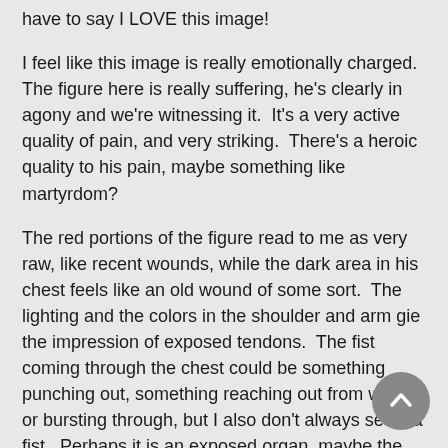have to say I LOVE this image!
I feel like this image is really emotionally charged. The figure here is really suffering, he's clearly in agony and we're witnessing it. It's a very active quality of pain, and very striking. There's a heroic quality to his pain, maybe something like martyrdom?
The red portions of the figure read to me as very raw, like recent wounds, while the dark area in his chest feels like an old wound of some sort. The lighting and the colors in the shoulder and arm gie the impression of exposed tendons. The fist coming through the chest could be something punching out, something reaching out from within or bursting through, but I also don't always see it a fist. Perhaps it is an exposed organ, maybe the heart?
There is something about the overall quality of